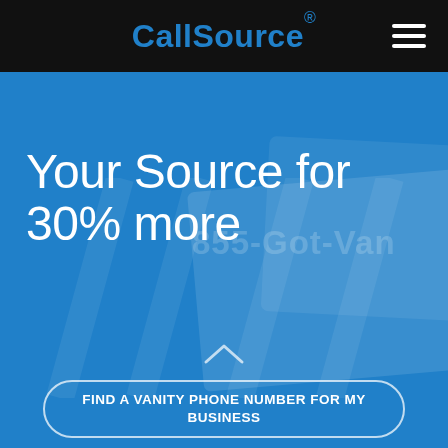CallSource®
Your Source for 30% more
[Figure (screenshot): Background watermark showing vanity phone number '855-Got-Van...' on a billboard or signage, faintly visible behind blue overlay]
FIND A VANITY PHONE NUMBER FOR MY BUSINESS